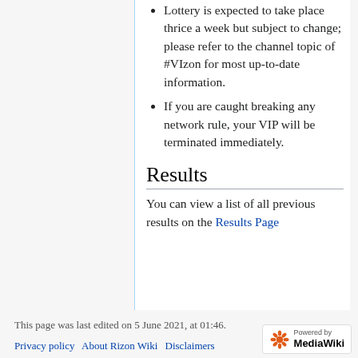Lottery is expected to take place thrice a week but subject to change; please refer to the channel topic of #VIzon for most up-to-date information.
If you are caught breaking any network rule, your VIP will be terminated immediately.
Results
You can view a list of all previous results on the Results Page
This page was last edited on 5 June 2021, at 01:46.
Privacy policy · About Rizon Wiki · Disclaimers